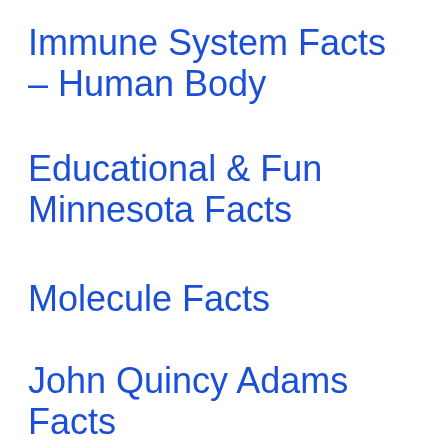Immune System Facts – Human Body
Educational & Fun Minnesota Facts
Molecule Facts
John Quincy Adams Facts